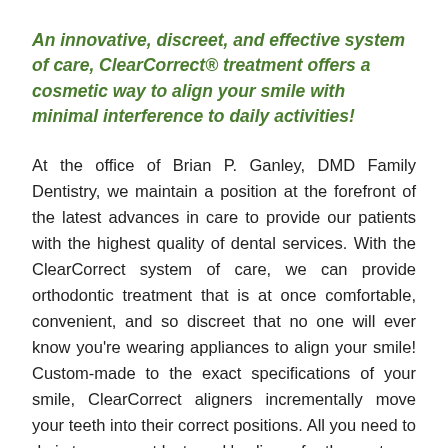An innovative, discreet, and effective system of care, ClearCorrect® treatment offers a cosmetic way to align your smile with minimal interference to daily activities!
At the office of Brian P. Ganley, DMD Family Dentistry, we maintain a position at the forefront of the latest advances in care to provide our patients with the highest quality of dental services. With the ClearCorrect system of care, we can provide orthodontic treatment that is at once comfortable, convenient, and so discreet that no one will ever know you're wearing appliances to align your smile! Custom-made to the exact specifications of your smile, ClearCorrect aligners incrementally move your teeth into their correct positions. All you need to do is to swap-out last week's aligner for the next one in the series and watch as your